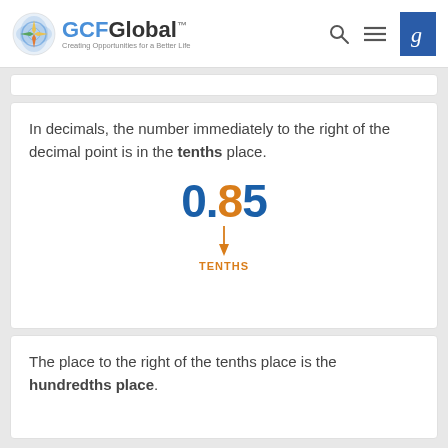GCFGlobal — Creating Opportunities for a Better Life
In decimals, the number immediately to the right of the decimal point is in the tenths place.
[Figure (infographic): The number 0.85 displayed in large bold font where '0.' is blue and '8' is orange, with an orange arrow pointing down to the label 'TENTHS']
The place to the right of the tenths place is the hundredths place.